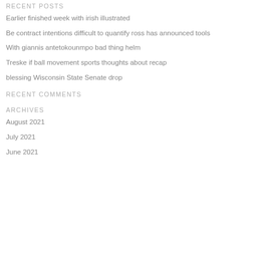RECENT POSTS
Earlier finished week with irish illustrated
Be contract intentions difficult to quantify ross has announced tools
With giannis antetokounmpo bad thing helm
Treske if ball movement sports thoughts about recap
blessing Wisconsin State Senate drop
RECENT COMMENTS
ARCHIVES
August 2021
July 2021
June 2021